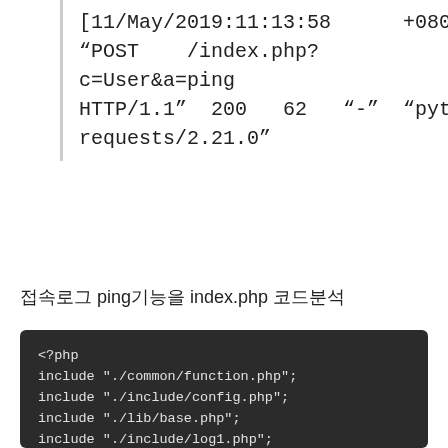[11/May/2019:11:13:58 +0800] "POST /index.php?c=User&a=ping HTTP/1.1" 200 62 "-" "python-requests/2.21.0"
접속로그 ping기능을 index.php 코드분석
<?php
include "./common/function.php";
include "./include/config.php";
include "./lib/base.php";
include "./include/log1.php";


ini_set("display_errors","On");

$c=isset($_GET['c'])?$_GET['c']:'User';
$a=isset($_GET['a'])?$_GET['a']:'Index';

$obj=run_c($c);
run_a($obj,$a);